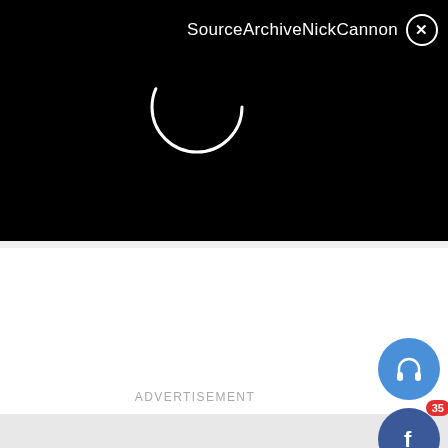[Figure (screenshot): Black video player bar with loading spinner arc and title 'SourceArchiveNickCannon' with close X button]
ADVERTISEMENT
[Figure (screenshot): Social media share buttons column on the right: headphone icon (blue), Facebook (blue, badge 35), Twitter (blue), WhatsApp (green), emoji face (yellow, badge 100%), stop/circle (red), chat bubble (red-orange)]